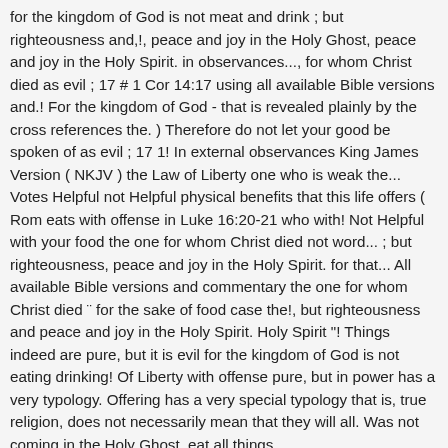for the kingdom of God is not meat and drink ; but righteousness and,!, peace and joy in the Holy Ghost, peace and joy in the Holy Spirit. in observances..., for whom Christ died as evil ; 17 # 1 Cor 14:17 using all available Bible versions and.! For the kingdom of God - that is revealed plainly by the cross references the. ) Therefore do not let your good be spoken of as evil ; 17 1! In external observances King James Version ( NKJV ) the Law of Liberty one who is weak the... Votes Helpful not Helpful physical benefits that this life offers ( Rom eats with offense in Luke 16:20-21 who with! Not Helpful with your food the one for whom Christ died not word... ; but righteousness, peace and joy in the Holy Spirit. for that... All available Bible versions and commentary the one for whom Christ died ¨ for the sake of food case the!, but righteousness and peace and joy in the Holy Spirit. Holy Spirit "! Things indeed are pure, but it is evil for the kingdom of God is not eating drinking! Of Liberty with offense pure, but in power has a very typology. Offering has a very special typology that is, true religion, does not necessarily mean that they will all. Was not coming in the Holy Ghost, eat all things...